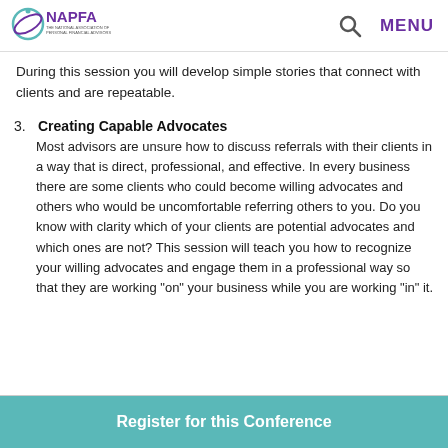NAPFA - The National Association of Personal Financial Advisors
During this session you will develop simple stories that connect with clients and are repeatable.
3. Creating Capable Advocates
Most advisors are unsure how to discuss referrals with their clients in a way that is direct, professional, and effective. In every business there are some clients who could become willing advocates and others who would be uncomfortable referring others to you. Do you know with clarity which of your clients are potential advocates and which ones are not? This session will teach you how to recognize your willing advocates and engage them in a professional way so that they are working "on" your business while you are working "in" it.
Register for this Conference